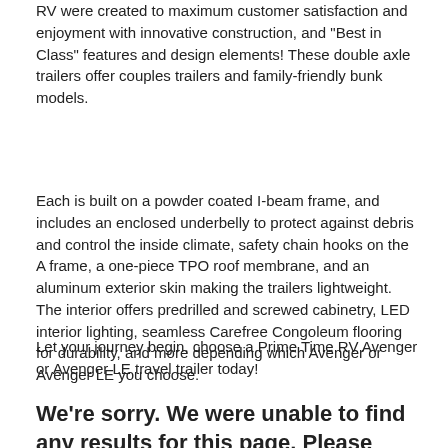RV were created to maximum customer satisfaction and enjoyment with innovative construction, and "Best in Class" features and design elements! These double axle trailers offer couples trailers and family-friendly bunk models.
Each is built on a powder coated I-beam frame, and includes an enclosed underbelly to protect against debris and control the inside climate, safety chain hooks on the A frame, a one-piece TPO roof membrane, and an aluminum exterior skin making the trailers lightweight. The interior offers predrilled and screwed cabinetry, LED interior lighting, seamless Carefree Congoleum flooring for durability, and more depending which Avenger or Avenger LE you choose.
Let your journey begin, choose a Prime Time RV Avenger or Avenger LE travel trailer today!
We're sorry. We were unable to find any results for this page. Please give us a call